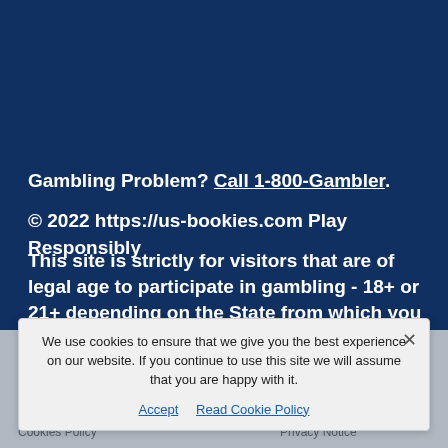Gambling Problem? Call 1-800-Gambler.
© 2022 https://us-bookies.com Play Responsibly
This site is strictly for visitors that are of legal age to participate in gambling - 18+ or 21+ depending on the State from which you come. Please check on the homepage
About US Bookies
Affiliate Marketing
Transparency
Cookies Policy
Privacy Notice
We use cookies to ensure that we give you the best experience on our website. If you continue to use this site we will assume that you are happy with it.
Accept   Read Cookie Policy